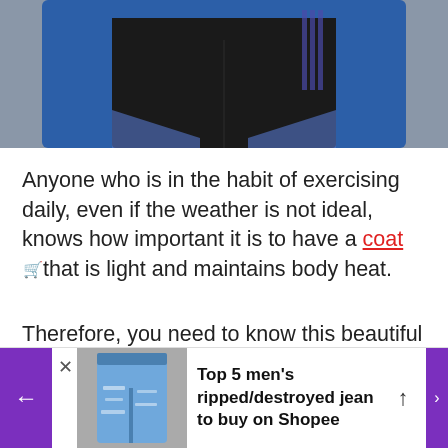[Figure (photo): Close-up photo of a person's lower body wearing black athletic shorts/leggings with a blue trim and a blue long-sleeve top, against a gray background]
Anyone who is in the habit of exercising daily, even if the weather is not ideal, knows how important it is to have a coat 🛒 that is light and maintains body heat.
Therefore, you need to know this beautiful coat 🛒
[Figure (photo): Advertisement banner: 'Top 5 men's ripped/destroyed jean to buy on Shopee' with an image of ripped jeans and purple navigation arrows]